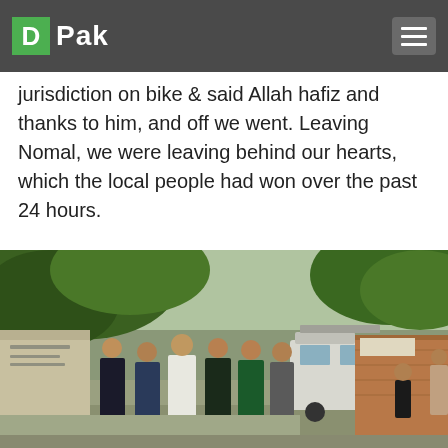D Pak
jurisdiction on bike & said Allah hafiz and thanks to him, and off we went. Leaving Nomal, we were leaving behind our hearts, which the local people had won over the past 24 hours.
[Figure (photo): Group of people standing together outdoors on a street under trees, with a white vehicle parked behind them and a brick building visible to the right. Lush green foliage overhead.]